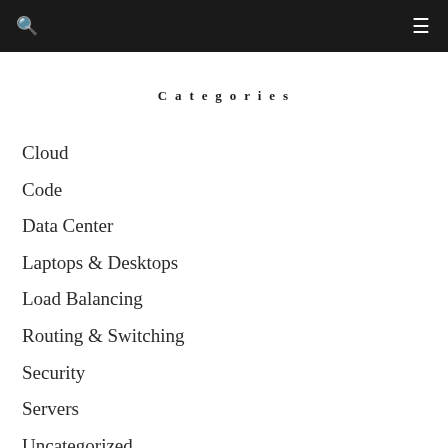Categories
Cloud
Code
Data Center
Laptops & Desktops
Load Balancing
Routing & Switching
Security
Servers
Uncategorized
VOIP